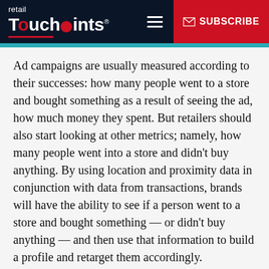retail TouchPoints® ☰ ✉ SUBSCRIBE
Ad campaigns are usually measured according to their successes: how many people went to a store and bought something as a result of seeing the ad, how much money they spent. But retailers should also start looking at other metrics; namely, how many people went into a store and didn't buy anything. By using location and proximity data in conjunction with data from transactions, brands will have the ability to see if a person went to a store and bought something — or didn't buy anything — and then use that information to build a profile and retarget them accordingly.
Although not exactly intuitive, people who entered a store but didn't make a purchase are ...